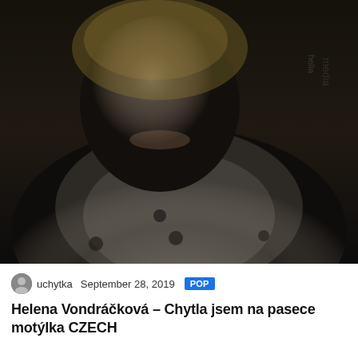[Figure (photo): Dark-toned photograph of a smiling blonde woman (Helena Vondráčková) wearing a white blouse with dark buttons. Background is dark/dimly lit. A magazine logo 'helia' or similar is visible faintly in the upper right corner.]
uchytka  September 28, 2019  POP
Helena Vondráčková – Chytla jsem na pasece motýlka CZECH